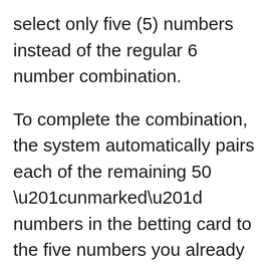select only five (5) numbers instead of the regular 6 number combination.

To complete the combination, the system automatically pairs each of the remaining 50 “unmarked” numbers in the betting card to the five numbers you already picked.

This creates a total of 50 combinations and ensures that you will get at least one (1) winning